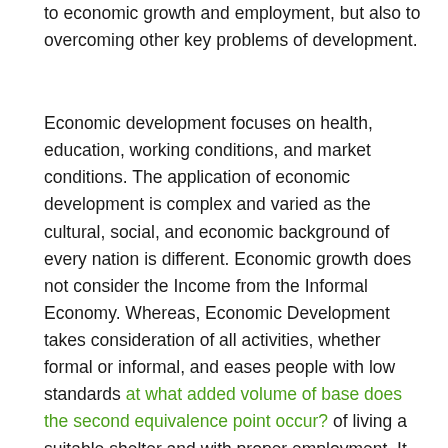to economic growth and employment, but also to overcoming other key problems of development.
Economic development focuses on health, education, working conditions, and market conditions. The application of economic development is complex and varied as the cultural, social, and economic background of every nation is different. Economic growth does not consider the Income from the Informal Economy. Whereas, Economic Development takes consideration of all activities, whether formal or informal, and eases people with low standards at what added volume of base does the second equivalence point occur? of living a suitable shelter and with proper employment. It may be noted that when quantitative easing policy is completely withdrawn and rates of interest raised by the Federal Reserve, there will be outflows of capital (i.e., dollars) by FIIs from India. When this happens the share prices in India will fall sharply, the Indian rupee would depreciate and thus creating a lot of